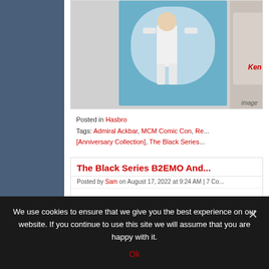[Figure (photo): Partial view of a Star Wars toy figure in packaging, partially cropped. Ken label visible.]
image
Posted in Hasbro
Tags: Admiral Ackbar, MCM Comic Con, Re[tro] [Anniversary Collection], The Black Series
The Black Series B2EMO And...
Posted by Sam on August 17, 2022 at 9:24 AM | 7 Co...
The upcoming exclusive Andor se... to show up on eBay. Click here to...
We use cookies to ensure that we give you the best experience on our website. If you continue to use this site we will assume that you are happy with it.
Ok